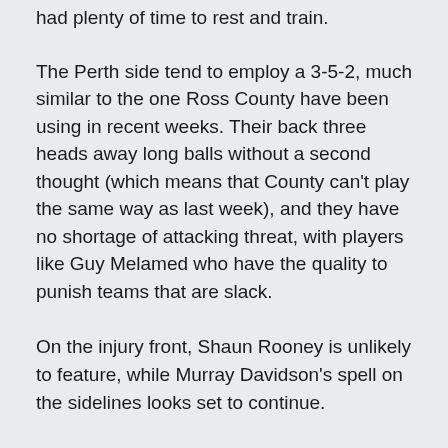had plenty of time to rest and train.
The Perth side tend to employ a 3-5-2, much similar to the one Ross County have been using in recent weeks. Their back three heads away long balls without a second thought (which means that County can't play the same way as last week), and they have no shortage of attacking threat, with players like Guy Melamed who have the quality to punish teams that are slack.
On the injury front, Shaun Rooney is unlikely to feature, while Murray Davidson's spell on the sidelines looks set to continue.
While a potential top six finish is out of the hands of St. Johnstone (it's dependent on whether or not Hamilton can take points off St. Mirren two points above), they'll know the job they have to do against the Staggies